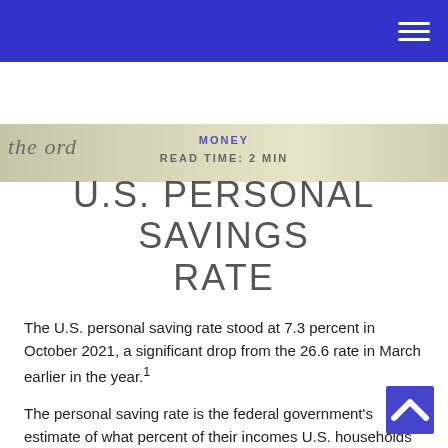[Figure (photo): Close-up of a document or check with partial text 'the ord' visible]
MONEY
READ TIME: 2 MIN
U.S. PERSONAL SAVINGS RATE
The U.S. personal saving rate stood at 7.3 percent in October 2021, a significant drop from the 26.6 rate in March earlier in the year.¹
The personal saving rate is the federal government's estimate of what percent of their incomes U.S. households are saving. But market watchers and economists are